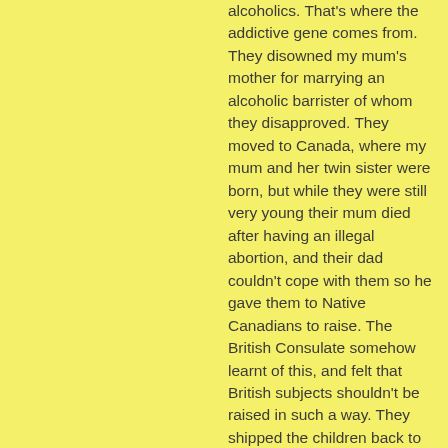alcoholics. That's where the addictive gene comes from. They disowned my mum's mother for marrying an alcoholic barrister of whom they disapproved. They moved to Canada, where my mum and her twin sister were born, but while they were still very young their mum died after having an illegal abortion, and their dad couldn't cope with them so he gave them to Native Canadians to raise. The British Consulate somehow learnt of this, and felt that British subjects shouldn't be raised in such a way. They shipped the children back to Scotland to be brought up by a family who had rejected